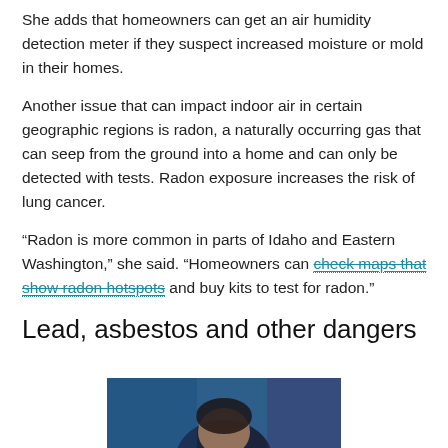She adds that homeowners can get an air humidity detection meter if they suspect increased moisture or mold in their homes.
Another issue that can impact indoor air in certain geographic regions is radon, a naturally occurring gas that can seep from the ground into a home and can only be detected with tests. Radon exposure increases the risk of lung cancer.
“Radon is more common in parts of Idaho and Eastern Washington,” she said. “Homeowners can check maps that show radon hotspots and buy kits to test for radon.”
Lead, asbestos and other dangers
[Figure (photo): Partial photo of a person, cropped at bottom of page, against a blue background]